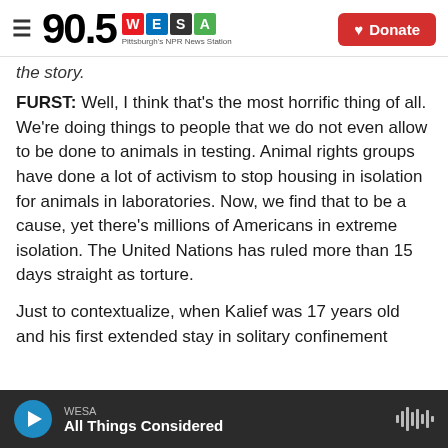90.5 WESA — Pittsburgh's NPR News Station | Donate
the story.
FURST: Well, I think that's the most horrific thing of all. We're doing things to people that we do not even allow to be done to animals in testing. Animal rights groups have done a lot of activism to stop housing in isolation for animals in laboratories. Now, we find that to be a cause, yet there's millions of Americans in extreme isolation. The United Nations has ruled more than 15 days straight as torture.
Just to contextualize, when Kalief was 17 years old and his first extended stay in solitary confinement
WESA — All Things Considered